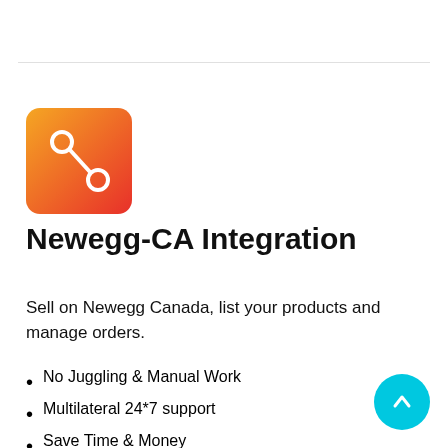[Figure (logo): Orange-to-red gradient square logo with a white share/network icon (circle connected by a line to another circle)]
Newegg-CA Integration
Sell on Newegg Canada, list your products and manage orders.
No Juggling & Manual Work
Multilateral 24*7 support
Save Time & Money